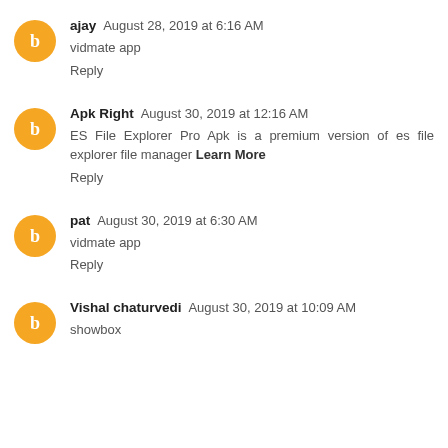ajay August 28, 2019 at 6:16 AM
vidmate app
Reply
Apk Right August 30, 2019 at 12:16 AM
ES File Explorer Pro Apk is a premium version of es file explorer file manager Learn More
Reply
pat August 30, 2019 at 6:30 AM
vidmate app
Reply
Vishal chaturvedi August 30, 2019 at 10:09 AM
showbox